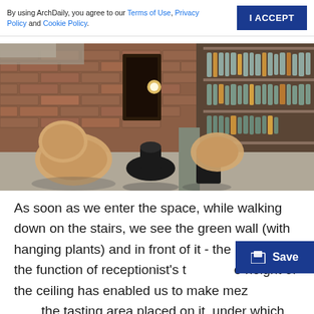By using ArchDaily, you agree to our Terms of Use, Privacy Policy and Cookie Policy.
[Figure (photo): Interior bar space with exposed brick walls, organic-shaped beige chairs, black side tables, and shelves lined with liquor bottles in the background. Concrete floor, warm lighting.]
As soon as we enter the space, while walking down on the stairs, we see the green wall (with hanging plants) and in front of it - the rock with the function of receptionist's table. The height of the ceiling has enabled us to make mez... the tasting area placed on it, under which there are the shelves of wine and strong alcoholic drinks, as well as the